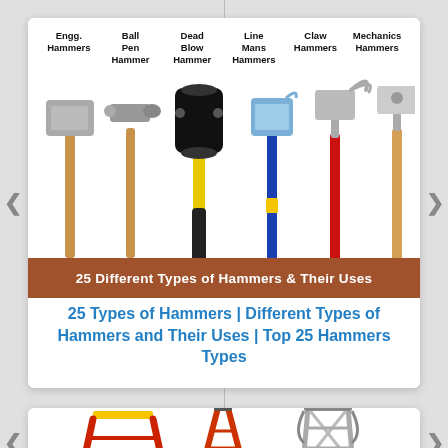[Figure (illustration): Infographic showing 6 types of hammers with labels: Engg. Hammers, Ball Pen Hammer, Dead Blow Hammer, Line Mans Hammers, Claw Hammers, Mechanics Hammers. Each hammer is illustrated with a photo. A brown banner at the bottom reads '25 Different Types of Hammers & Their Uses'.]
25 Types of Hammers | Different Types of Hammers and Their Uses | Top 25 Hammers Types
[Figure (photo): Partial view of three types of ladders (yellow/red stepladder, red/orange ladder, aluminum ladder) shown at the bottom of the page.]